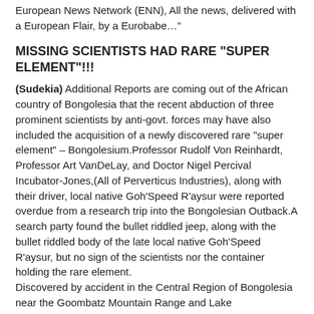European News Network (ENN), All the news, delivered with a European Flair, by a Eurobabe…"
MISSING SCIENTISTS HAD RARE "SUPER ELEMENT"!!!
(Sudekia) Additional Reports are coming out of the African country of Bongolesia that the recent abduction of three prominent scientists by anti-govt. forces may have also included the acquisition of a newly discovered rare "super element" – Bongolesium.Professor Rudolf Von Reinhardt, Professor Art VanDeLay, and Doctor Nigel Percival Incubator-Jones,(All of Perverticus Industries), along with their driver, local native Goh'Speed R'aysur were reported overdue from a research trip into the Bongolesian Outback.A search party found the bullet riddled jeep, along with the bullet riddled body of the late local native Goh'Speed R'aysur, but no sign of the scientists nor the container holding the rare element. Discovered by accident in the Central Region of Bongolesia near the Goombatz Mountain Range and Lake Damnitsdeep, "Bongolesium" is a rare element that seems to display some "unusual talents".